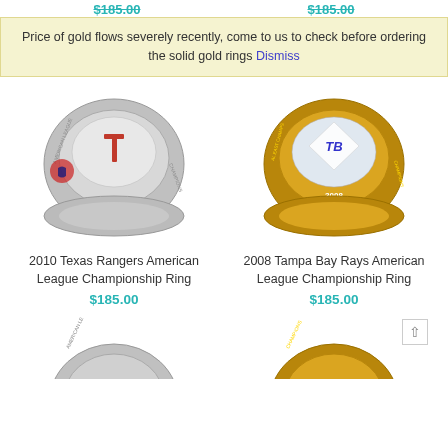Price of gold flows severely recently, come to us to check before ordering the solid gold rings Dismiss
[Figure (photo): 2010 Texas Rangers American League Championship Ring - silver and gold ring with T logo]
[Figure (photo): 2008 Tampa Bay Rays American League Championship Ring - gold ring with Rays logo and 2008]
2010 Texas Rangers American League Championship Ring
$185.00
2008 Tampa Bay Rays American League Championship Ring
$185.00
[Figure (photo): Partial view of another championship ring at the bottom left]
[Figure (photo): Partial view of another championship ring at the bottom right]